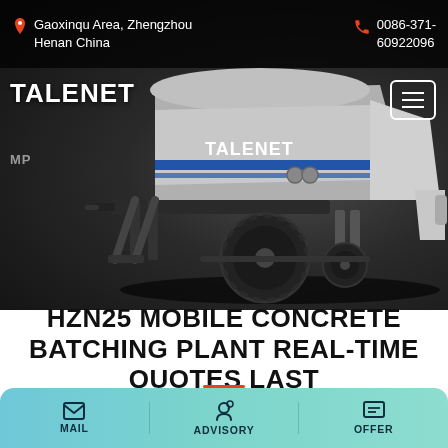Gaoxinqu Area, Zhengzhou Henan China | 0086-371-60922096
[Figure (photo): TALENET branded concrete pump machine (trailer-mounted) on dark background. Gray and white machine with TALENET logo, blue stripes, large black wheel visible.]
HZN25 MOBILE CONCRETE BATCHING PLANT REAL-TIME QUOTES LAST
MAIL | ADVISORY | OFFER